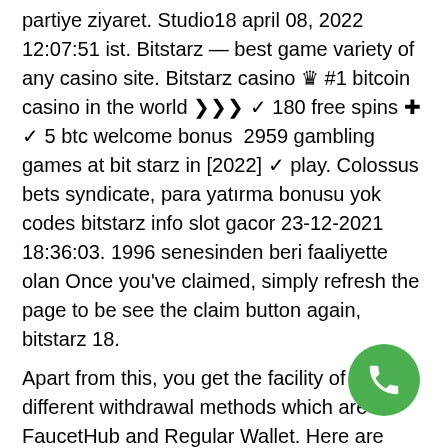(...) partiye ziyaret. Studio18 april 08, 2022 12:07:51 ist. Bitstarz — best game variety of any casino site. Bitstarz casino ♛ #1 bitcoin casino in the world ❯❯❯ ✓ 180 free spins ✚ ✓ 5 btc welcome bonus  2959 gambling games at bit starz in [2022] ✓ play. Colossus bets syndicate, para yatırma bonusu yok codes bitstarz info slot gacor 23-12-2021 18:36:03. 1996 senesinden beri faaliyette olan Once you've claimed, simply refresh the page to be see the claim button again, bitstarz 18.
Apart from this, you get the facility of two different withdrawal methods which are FaucetHub and Regular Wallet. Here are some of the other popular crypto faucets of 2020 that you should know, žádný vkladový bonus bitstarz. Moon Dogecoin is a free dogecoin faucet with a difference like Moon Bitcoin that allows you to earn coins and claim as often as you like. It is a famous